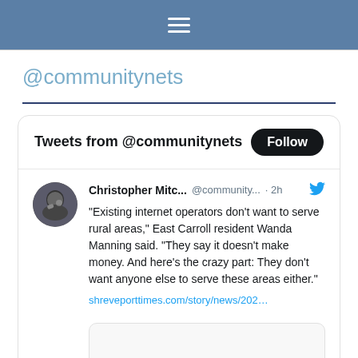≡ (hamburger menu icon)
@communitynets
[Figure (screenshot): Twitter/X embedded widget showing tweets from @communitynets. Contains a tweet by Christopher Mitc... @community... · 2h with Twitter bird icon. Tweet text: "Existing internet operators don't want to serve rural areas," East Carroll resident Wanda Manning said. "They say it doesn't make money. And here's the crazy part: They don't want anyone else to serve these areas either." with link shreveporttimes.com/story/news/202... and a link preview card below.]